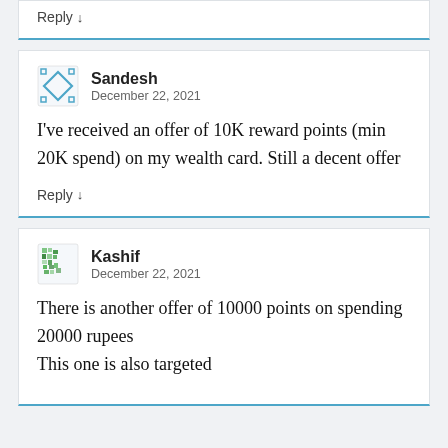Reply ↓
Sandesh
December 22, 2021
I've received an offer of 10K reward points (min 20K spend) on my wealth card. Still a decent offer
Reply ↓
Kashif
December 22, 2021
There is another offer of 10000 points on spending 20000 rupees
This one is also targeted